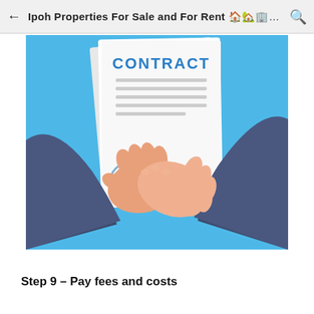Ipoh Properties For Sale and For Rent 🏠🏡🏢🏣🏤...
[Figure (illustration): Illustration of two people shaking hands over a contract document on a blue background. The contract has the word CONTRACT in bold blue letters at the top. There is a stamp/seal and a cursive 'sign' signature visible on the document.]
Step 9 – Pay fees and costs